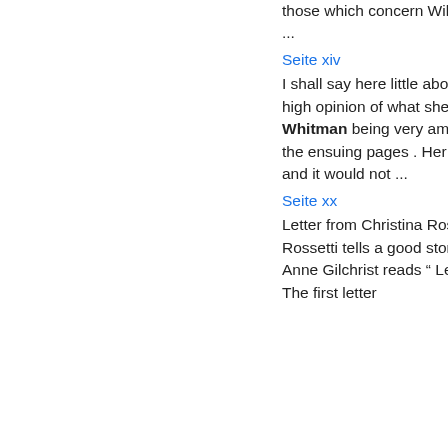those which concern William Blake and Walt Whitman ...
Seite xiv
I shall say here little about Mrs. Gilchrist's writings : my high opinion of what she wrote concerning Walt Whitman being very amply expressed in the course of the ensuing pages . Her letters speak for themselves ; and it would not ...
Seite xx
Letter from Christina Rossetti Jonathan Hutchinson Rossetti tells a good story about Carlyle and Browning Anne Gilchrist reads “ Leaves of Grass ” for the first time The first letter